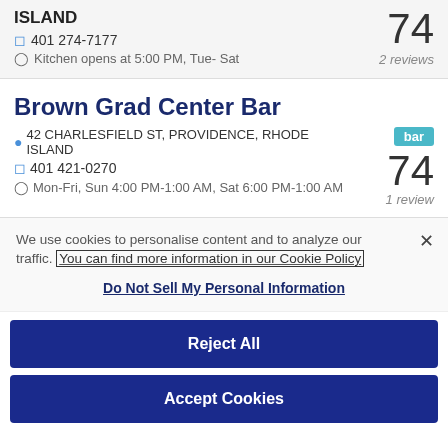ISLAND
☎ 401 274-7177
🕐 Kitchen opens at 5:00 PM, Tue- Sat
74
2 reviews
Brown Grad Center Bar
📍 42 CHARLESFIELD ST, PROVIDENCE, RHODE ISLAND
☎ 401 421-0270
🕐 Mon-Fri, Sun 4:00 PM-1:00 AM, Sat 6:00 PM-1:00 AM
bar
74
1 review
We use cookies to personalise content and to analyze our traffic. You can find more information in our Cookie Policy
Do Not Sell My Personal Information
Reject All
Accept Cookies